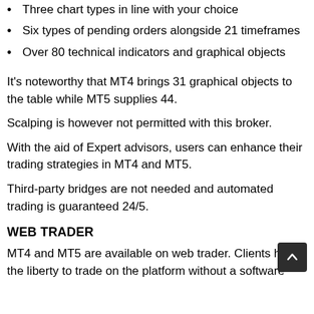Three chart types in line with your choice
Six types of pending orders alongside 21 timeframes
Over 80 technical indicators and graphical objects
It's noteworthy that MT4 brings 31 graphical objects to the table while MT5 supplies 44.
Scalping is however not permitted with this broker.
With the aid of Expert advisors, users can enhance their trading strategies in MT4 and MT5.
Third-party bridges are not needed and automated trading is guaranteed 24/5.
WEB TRADER
MT4 and MT5 are available on web trader. Clients have the liberty to trade on the platform without a software